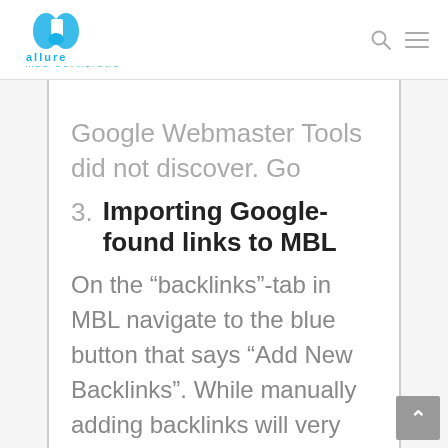Allure Web Solutions
Google Webmaster Tools did not discover. Go ahead and give them access.
3. Importing Google-found links to MBL
On the “backlinks”-tab in MBL navigate to the blue button that says “Add New Backlinks”. While manually adding backlinks will very quickly have you wound up in confusion, “import links from file” is the way to go.